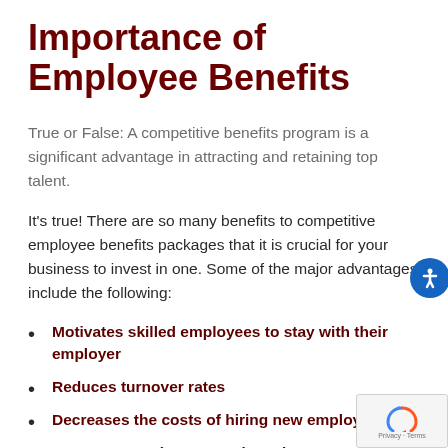Importance of Employee Benefits
True or False: A competitive benefits program is a significant advantage in attracting and retaining top talent.
It's true! There are so many benefits to competitive employee benefits packages that it is crucial for your business to invest in one. Some of the major advantages include the following:
Motivates skilled employees to stay with their employer
Reduces turnover rates
Decreases the costs of hiring new employees
Increases employee morale and engagement
Creates a healthier bottom line